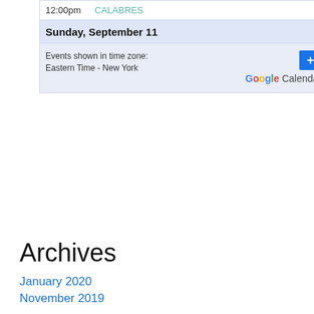[Figure (screenshot): Calendar widget showing 12:00pm CALABRES event, Sunday September 11 date header, timezone note (Eastern Time - New York), and Google Calendar button with plus icon]
Archives
January 2020
November 2019
October 2019
September 2019
August 2019
July 2019
June 2019
May 2019
April 2019
March 2019
February 2019
January 2019